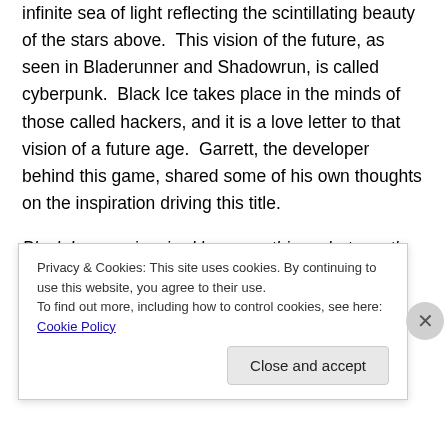infinite sea of light reflecting the scintillating beauty of the stars above.  This vision of the future, as seen in Bladerunner and Shadowrun, is called cyberpunk.  Black Ice takes place in the minds of those called hackers, and it is a love letter to that vision of a future age.  Garrett, the developer behind this game, shared some of his own thoughts on the inspiration driving this title.
Black Ice was inspired by many things, but mostly Neuromancer by William Gibson and Snow Crash by Neal Stephenson. I wanted to experience the hacking as described in Neuromancer, but I also wanted to find cool
Privacy & Cookies: This site uses cookies. By continuing to use this website, you agree to their use.
To find out more, including how to control cookies, see here: Cookie Policy